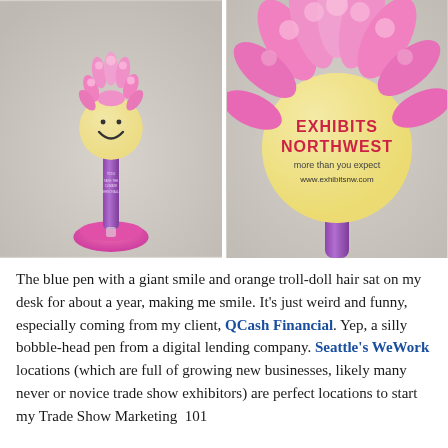[Figure (photo): Two photos side by side of a pink bobble-head troll-doll pen. Left photo shows the full pen with a smiley face head, pink fuzzy hair on top, purple pen body with text, and a pink suction cup base. Right photo is a close-up of the head showing 'EXHIBITS NORTHWEST more than you expect www.exhibitsnw.com' printed on the yellow ball head, with pink fuzzy hair and purple handle below.]
The blue pen with a giant smile and orange troll-doll hair sat on my desk for about a year, making me smile. It's just weird and funny, especially coming from my client, QCash Financial. Yep, a silly bobble-head pen from a digital lending company. Seattle's WeWork locations (which are full of growing new businesses, likely many never or novice trade show exhibitors) are perfect locations to start my Trade Show Marketing 101